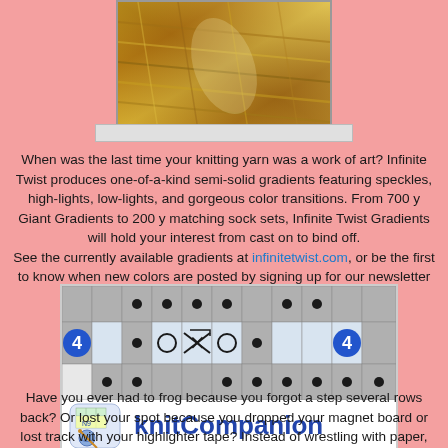[Figure (photo): Photo of golden/yellow skein of knitting yarn]
When was the last time your knitting yarn was a work of art? Infinite Twist produces one-of-a-kind semi-solid gradients featuring speckles, high-lights, low-lights, and gorgeous color transitions. From 700 y Giant Gradients to 200 y matching sock sets, Infinite Twist Gradients will hold your interest from cast on to bind off. See the currently available gradients at infinitetwist.com, or be the first to know when new colors are posted by signing up for our newsletter at infinitetwist.com/newsletter-signup
[Figure (screenshot): knitCompanion app screenshot showing knitting chart with row markers and the knitCompanion logo]
Have you ever had to frog because you forgot a step several rows back? Or lost your spot because you dropped your magnet board or lost track with your highlighter tape? Instead of wrestling with paper, use the knitCompanion app. It keeps you on track so you can knit more and frog